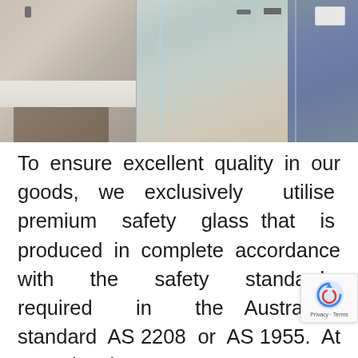[Figure (photo): Photograph of a modern bathroom with frameless glass shower screens. Left side shows a stone/marble countertop with cabinetry below. Center and right show frameless and semi-framed glass shower enclosures in a contemporary bathroom setting.]
To ensure excellent quality in our goods, we exclusively utilise premium safety glass that is produced in complete accordance with the safety standards required in the Australian standard AS 2208 or AS 1955. At Speedy Shower Screens, you can entrust us with your projects and be confident that you will receive only the best goods, such as our semi framed shower screen ite[ms] any other comparable alternatives fo[r your]